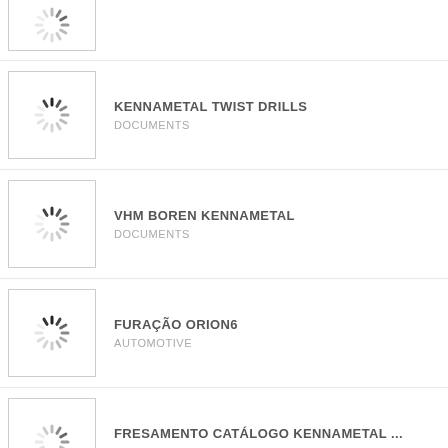[Figure (screenshot): Loading spinner thumbnail (partial, top of page)]
[Figure (screenshot): Loading spinner thumbnail for KENNAMETAL TWIST DRILLS]
KENNAMETAL TWIST DRILLS
DOCUMENTS
[Figure (screenshot): Loading spinner thumbnail for VHM BOREN KENNAMETAL]
VHM BOREN KENNAMETAL
DOCUMENTS
[Figure (screenshot): Loading spinner thumbnail for FURAÇÃO ORION6]
FURAÇÃO ORION6
AUTOMOTIVE
[Figure (screenshot): Loading spinner thumbnail for FRESAMENTO CATÁLOGO KENNAMETAL ...]
FRESAMENTO CATÁLOGO KENNAMETAL ...
DOCUMENTS
[Figure (screenshot): Loading spinner thumbnail for INSTITUTIONS THE KENNAMETAL FOUN...]
INSTITUTIONS THE KENNAMETAL FOUN...